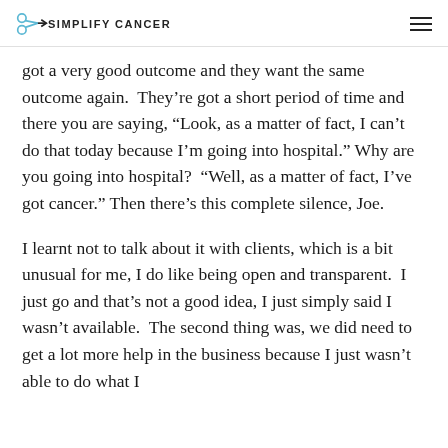SIMPLIFY CANCER
got a very good outcome and they want the same outcome again.  They’re got a short period of time and there you are saying, “Look, as a matter of fact, I can’t do that today because I’m going into hospital.” Why are you going into hospital?  “Well, as a matter of fact, I’ve got cancer.” Then there’s this complete silence, Joe.
I learnt not to talk about it with clients, which is a bit unusual for me, I do like being open and transparent.  I just go and that’s not a good idea, I just simply said I wasn’t available.  The second thing was, we did need to get a lot more help in the business because I just wasn’t able to do what I